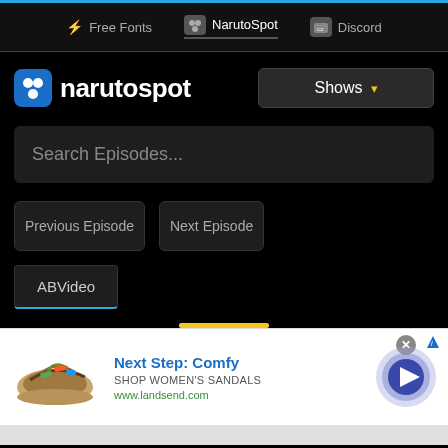Free Fonts | NarutoSpot | Discord
[Figure (screenshot): NarutoSpot logo with blue icon showing three circles and white text 'narutospot']
Shows ▾
Search Episodes...
Previous Episode
Next Episode
ABVideo
[Figure (infographic): Advertisement banner: sandal shoe image, 'Next Step: Comfy' headline, 'SHOP WOMEN'S SANDALS', 'www.landsend.com', blue play button circle, close button]